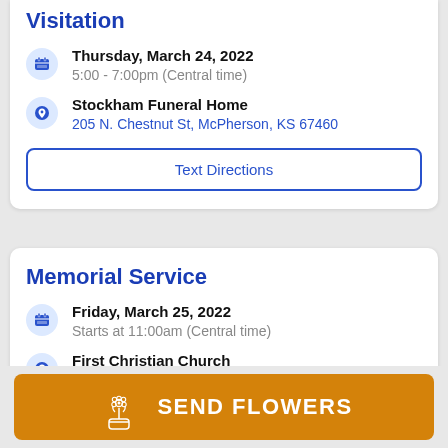Visitation
Thursday, March 24, 2022
5:00 - 7:00pm (Central time)
Stockham Funeral Home
205 N. Chestnut St, McPherson, KS 67460
Text Directions
Memorial Service
Friday, March 25, 2022
Starts at 11:00am (Central time)
First Christian Church
101 S Walnut St, McPherson, KS 67460
Livestream
SEND FLOWERS